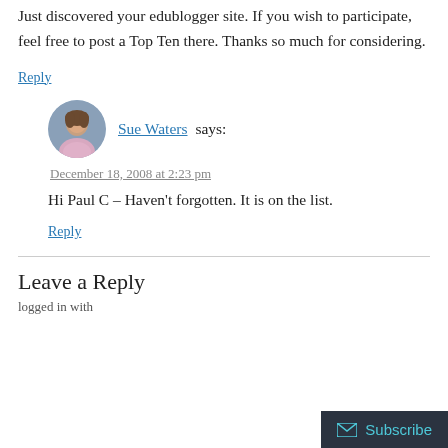Just discovered your edublogger site. If you wish to participate, feel free to post a Top Ten there. Thanks so much for considering.
Reply
Sue Waters says:
December 18, 2008 at 2:23 pm
Hi Paul C – Haven't forgotten. It is on the list.
Reply
Leave a Reply
Subscribe